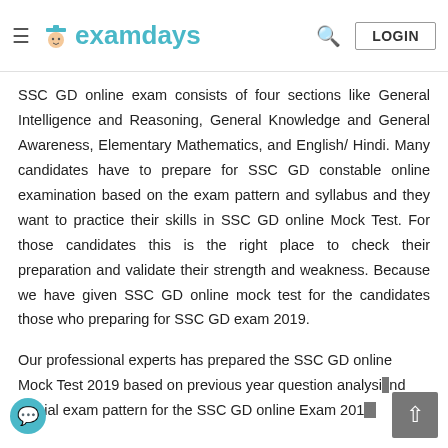examdays | LOGIN
SSC GD online exam consists of four sections like General Intelligence and Reasoning, General Knowledge and General Awareness, Elementary Mathematics, and English/Hindi. Many candidates have to prepare for SSC GD constable online examination based on the exam pattern and syllabus and they want to practice their skills in SSC GD online Mock Test. For those candidates this is the right place to check their preparation and validate their strength and weakness. Because we have given SSC GD online mock test for the candidates those who preparing for SSC GD exam 2019.
Our professional experts has prepared the SSC GD online Mock Test 2019 based on previous year question analysis and official exam pattern for the SSC GD online Exam 2019.